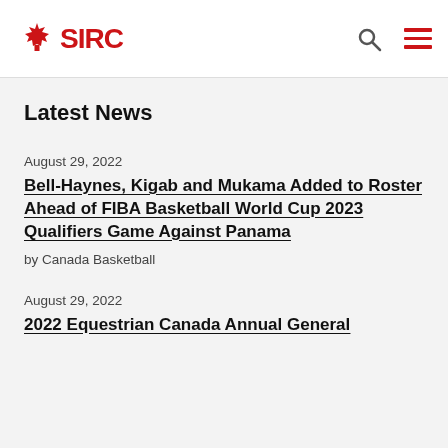SIRC
Latest News
August 29, 2022
Bell-Haynes, Kigab and Mukama Added to Roster Ahead of FIBA Basketball World Cup 2023 Qualifiers Game Against Panama
by Canada Basketball
August 29, 2022
2022 Equestrian Canada Annual General